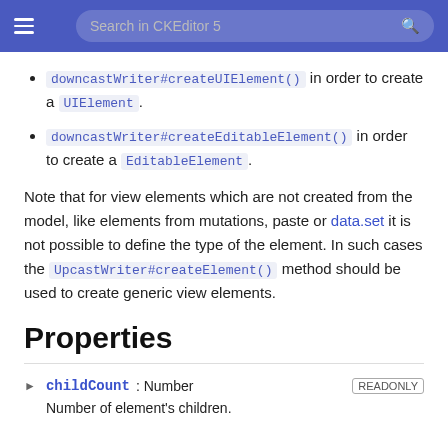Search in CKEditor 5
downcastWriter#createUIElement() in order to create a UIElement.
downcastWriter#createEditableElement() in order to create a EditableElement.
Note that for view elements which are not created from the model, like elements from mutations, paste or data.set it is not possible to define the type of the element. In such cases the UpcastWriter#createElement() method should be used to create generic view elements.
Properties
childCount : Number
Number of element's children.